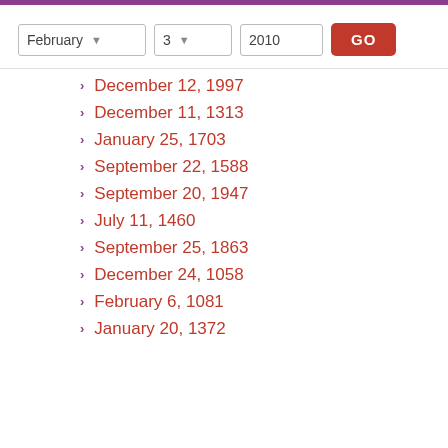December 12, 1997
December 11, 1313
January 25, 1703
September 22, 1588
September 20, 1947
July 11, 1460
September 25, 1863
December 24, 1058
February 6, 1081
January 20, 1372